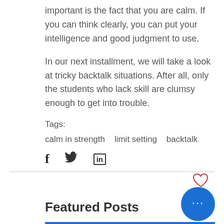important is the fact that you are calm. If you can think clearly, you can put your intelligence and good judgment to use.
In our next installment, we will take a look at tricky backtalk situations. After all, only the students who lack skill are clumsy enough to get into trouble.
Tags:
calm in strength   limit setting   backtalk
[Figure (other): Social share icons: Facebook (f), Twitter bird, LinkedIn (in)]
[Figure (other): Heart (like) icon in red outline, blue circle button with three dots (more options), Featured Posts section header with blue underline bar]